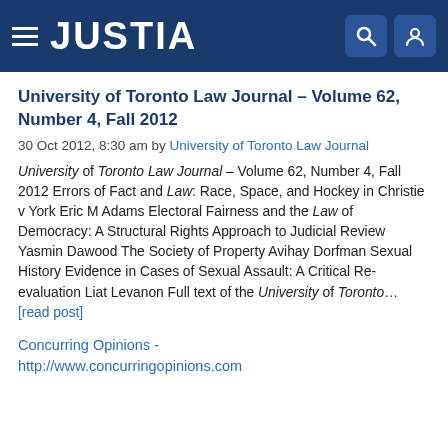JUSTIA
University of Toronto Law Journal – Volume 62, Number 4, Fall 2012
30 Oct 2012, 8:30 am by University of Toronto Law Journal
University of Toronto Law Journal – Volume 62, Number 4, Fall 2012 Errors of Fact and Law: Race, Space, and Hockey in Christie v York Eric M Adams Electoral Fairness and the Law of Democracy: A Structural Rights Approach to Judicial Review Yasmin Dawood The Society of Property Avihay Dorfman Sexual History Evidence in Cases of Sexual Assault: A Critical Re-evaluation Liat Levanon Full text of the University of Toronto... [read post]
Concurring Opinions - http://www.concurringopinions.com